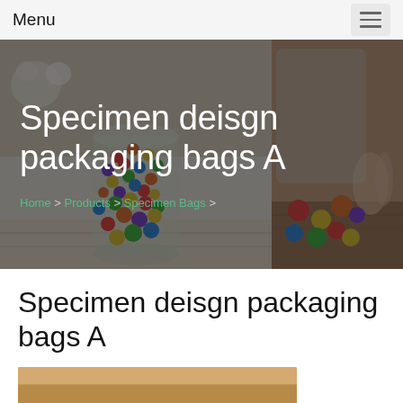Menu
[Figure (photo): Hero banner with two photos side by side: left shows colorful candy/Skittles in a glass jar with flowers in background; right shows colorful candies/jellybeans on a wooden surface. Dark overlay with white title text and green breadcrumb navigation.]
Specimen deisgn packaging bags A
Home > Products > Specimen Bags >
Specimen deisgn packaging bags A
[Figure (photo): Partial view of a wooden surface/table, bottom portion of page.]